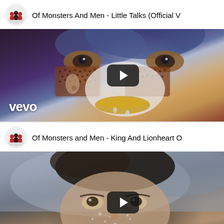[Figure (screenshot): YouTube video card for 'Of Monsters And Men - Little Talks (Official V...' showing artistic face thumbnail with vevo watermark and play button]
[Figure (screenshot): YouTube video card for 'Of Monsters and Men - King And Lionheart O...' showing face with water droplets thumbnail and play button]